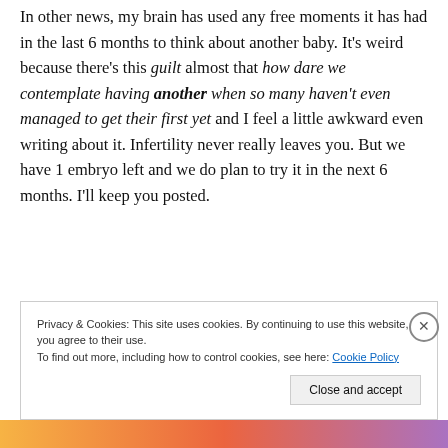In other news, my brain has used any free moments it has had in the last 6 months to think about another baby. It's weird because there's this guilt almost that how dare we contemplate having another when so many haven't even managed to get their first yet and I feel a little awkward even writing about it. Infertility never really leaves you. But we have 1 embryo left and we do plan to try it in the next 6 months. I'll keep you posted.
Privacy & Cookies: This site uses cookies. By continuing to use this website, you agree to their use. To find out more, including how to control cookies, see here: Cookie Policy
Close and accept